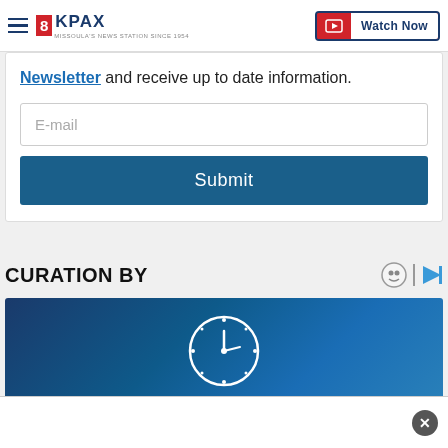8KPAX | Watch Now
Newsletter and receive up to date information.
E-mail
Submit
CURATION BY
[Figure (photo): Dark blue background image with a clock icon in the center, white outline clock with hour and minute hands.]